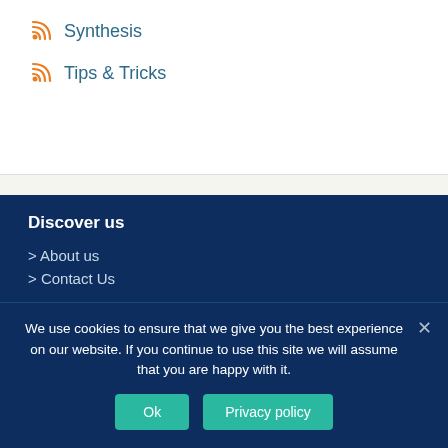Synthesis
Tips & Tricks
Discover us
> About us
> Contact Us
Our events
We use cookies to ensure that we give you the best experience on our website. If you continue to use this site we will assume that you are happy with it.
Ok
Privacy policy